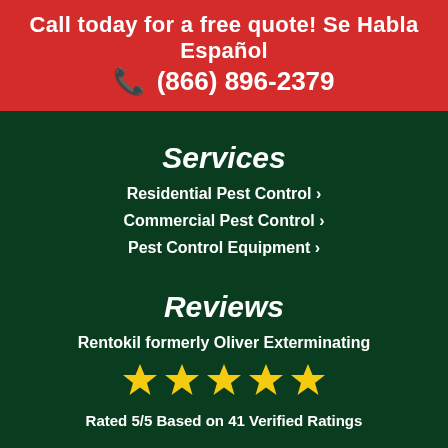Call today for a free quote! Se Habla Español
📞 (866) 896-2379
Services
Residential Pest Control ›
Commercial Pest Control ›
Pest Control Equipment ›
Reviews
Rentokil formerly Oliver Exterminating
[Figure (other): Five yellow stars rating graphic]
Rated 5/5 Based on 41 Verified Ratings
Contact Us ›